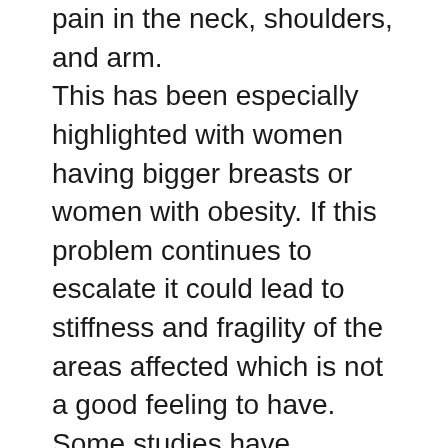pain in the neck, shoulders, and arm. This has been especially highlighted with women having bigger breasts or women with obesity. If this problem continues to escalate it could lead to stiffness and fragility of the areas affected which is not a good feeling to have. Some studies have indicated that there is a possibility of the development of ‘round shoulders’ in women upon constant pressure of the strap. It takes one to know that this is a bad thing happening and slipping out of place and